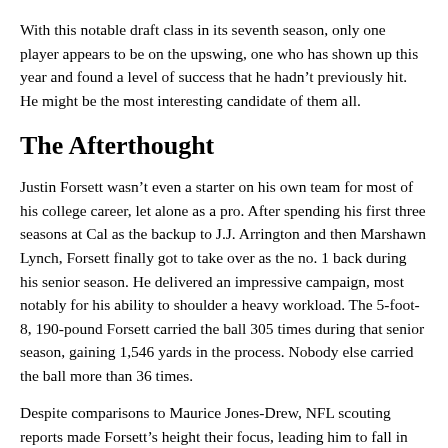With this notable draft class in its seventh season, only one player appears to be on the upswing, one who has shown up this year and found a level of success that he hadn’t previously hit. He might be the most interesting candidate of them all.
The Afterthought
Justin Forsett wasn’t even a starter on his own team for most of his college career, let alone as a pro. After spending his first three seasons at Cal as the backup to J.J. Arrington and then Marshawn Lynch, Forsett finally got to take over as the no. 1 back during his senior season. He delivered an impressive campaign, most notably for his ability to shoulder a heavy workload. The 5-foot-8, 190-pound Forsett carried the ball 305 times during that senior season, gaining 1,546 yards in the process. Nobody else carried the ball more than 36 times.
Despite comparisons to Maurice Jones-Drew, NFL scouting reports made Forsett’s height their focus, leading him to fall in the draft.